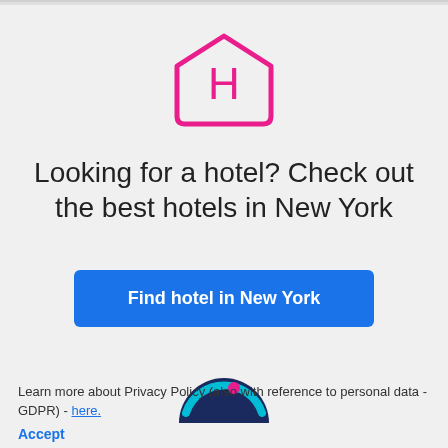[Figure (logo): House/hotel icon with letter H, outlined in pink/magenta, pentagon house shape]
Looking for a hotel? Check out the best hotels in New York
Find hotel in New York
[Figure (logo): Circular app icon with dark navy background, teal and magenta accents, partially visible at bottom]
Learn more about Privacy Policy (also with reference to personal data - GDPR) - here.
Accept